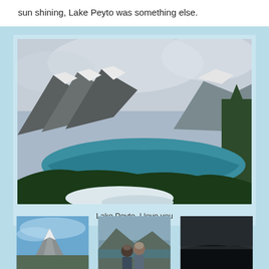sun shining, Lake Peyto was something else.
[Figure (photo): Aerial view of Lake Peyto surrounded by snow-capped mountains and dense evergreen forest, with vivid blue-green water visible in the valley]
Lake Peyto, I love you
[Figure (photo): Three small thumbnail photos showing: snowy mountain with blue sky, two people in hats by a lake, and a dark moody landscape]
[Figure (photo): Two people in winter hats posing in front of a lake and mountains]
[Figure (photo): Dark moody landscape photo]